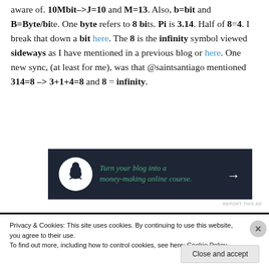aware of. 10Mbit–>J=10 and M=13. Also, b=bit and B=Byte/bite. One byte refers to 8 bits. Pi is 3.14. Half of 8=4. I break that down a bit here. The 8 is the infinity symbol viewed sideways as I have mentioned in a previous blog or here. One new sync, (at least for me), was that @saintsantiago mentioned 314=8 –> 3+1+4=8 and 8 = infinity.
[Figure (other): Advertisement banner: dark navy background with white circle icon (person meditating under a tree), green text 'Turn your blog into a money-making online course.' with a white arrow pointing right.]
REPORT THIS AD
Privacy & Cookies: This site uses cookies. By continuing to use this website, you agree to their use.
To find out more, including how to control cookies, see here: Cookie Policy
Close and accept